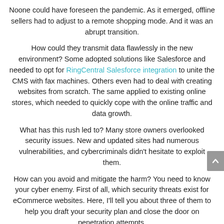Noone could have foreseen the pandemic. As it emerged, offline sellers had to adjust to a remote shopping mode. And it was an abrupt transition.
How could they transmit data flawlessly in the new environment? Some adopted solutions like Salesforce and needed to opt for RingCentral Salesforce integration to unite the CMS with fax machines. Others even had to deal with creating websites from scratch. The same applied to existing online stores, which needed to quickly cope with the online traffic and data growth.
What has this rush led to? Many store owners overlooked security issues. New and updated sites had numerous vulnerabilities, and cybercriminals didn't hesitate to exploit them.
How can you avoid and mitigate the harm? You need to know your cyber enemy. First of all, which security threats exist for eCommerce websites. Here, I'll tell you about three of them to help you draft your security plan and close the door on penetration attempts.
Three Types of Cyberattacks on eCommerce Websites
Online stores have always been a coveted prize for hackers,